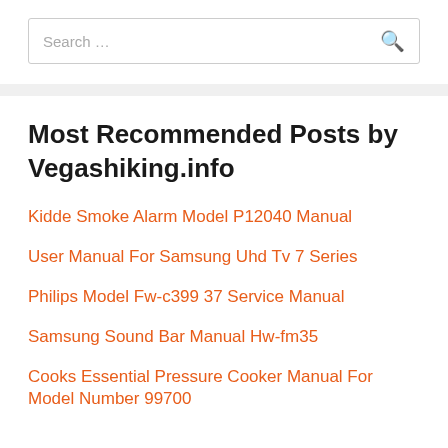[Figure (other): Search bar with placeholder text 'Search ...' and a search icon on the right]
Most Recommended Posts by Vegashiking.info
Kidde Smoke Alarm Model P12040 Manual
User Manual For Samsung Uhd Tv 7 Series
Philips Model Fw-c399 37 Service Manual
Samsung Sound Bar Manual Hw-fm35
Cooks Essential Pressure Cooker Manual For Model Number 99700